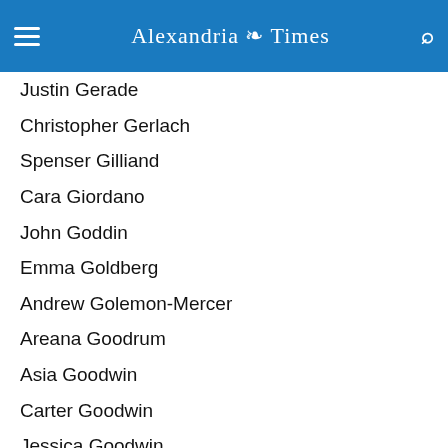Alexandria Times
Justin Gerade
Christopher Gerlach
Spenser Gilliand
Cara Giordano
John Goddin
Emma Goldberg
Andrew Golemon-Mercer
Areana Goodrum
Asia Goodwin
Carter Goodwin
Jessica Goodwin
Jacelyn Granados
George Hall
Abby Halm
Samuel Hanoura